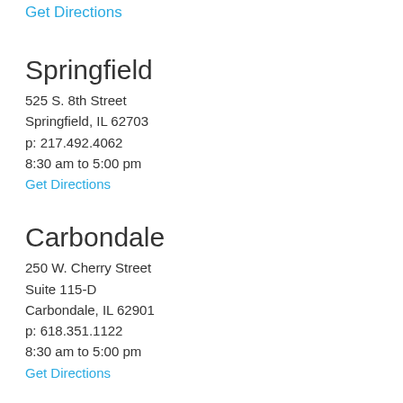Get Directions
Springfield
525 S. 8th Street
Springfield, IL 62703
p: 217.492.4062
8:30 am to 5:00 pm
Get Directions
Carbondale
250 W. Cherry Street
Suite 115-D
Carbondale, IL 62901
p: 618.351.1122
8:30 am to 5:00 pm
Get Directions
Rock Island
1504 Third Avenue